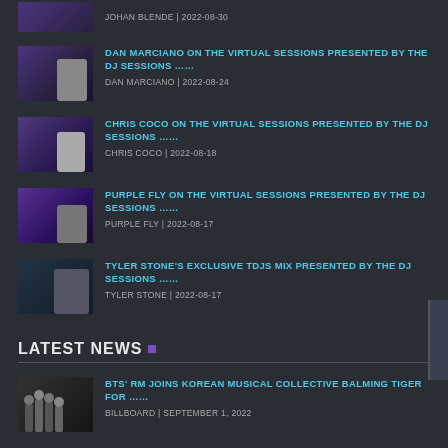JOHAN BLENDE | 2022-08-30
DAN MARCIANO ON THE VIRTUAL SESSIONS PRESENTED BY THE DJ SESSIONS …… | DAN MARCIANO | 2022-08-24
CHRIS COCO ON THE VIRTUAL SESSIONS PRESENTED BY THE DJ SESSIONS …… | CHRIS COCO | 2022-08-18
PURPLE FLY ON THE VIRTUAL SESSIONS PRESENTED BY THE DJ SESSIONS …… | PURPLE FLY | 2022-08-17
TYLER STONE'S EXCLUSIVE TDJS MIX PRESENTED BY THE DJ SESSIONS …… | TYLER STONE | 2022-08-17
LATEST NEWS
BTS' RM JOINS KOREAN MUSICAL COLLECTIVE BALMING TIGER FOR …… | BILLBOARD | SEPTEMBER 1, 2022